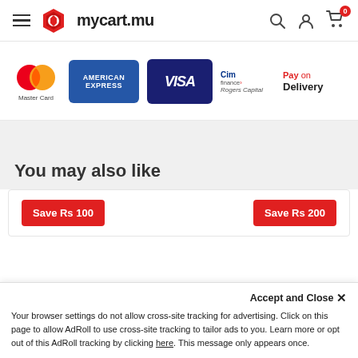mycart.mu navigation bar with hamburger menu, logo, search, account, and cart icons
[Figure (logo): Payment method logos: MasterCard, American Express, VISA, CIM Finance Rogers Capital, Pay on Delivery]
You may also like
[Figure (infographic): Product strip with Save Rs 100 and Save Rs 200 buttons]
Accept and Close ×
Your browser settings do not allow cross-site tracking for advertising. Click on this page to allow AdRoll to use cross-site tracking to tailor ads to you. Learn more or opt out of this AdRoll tracking by clicking here. This message only appears once.